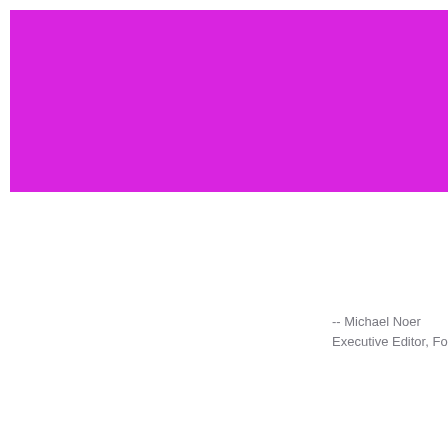[Figure (other): Large magenta/purple solid color rectangle occupying the upper portion of the page]
-- Michael Noer
Executive Editor, Fo